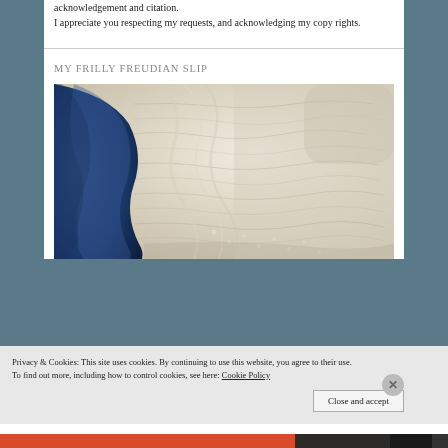acknowledgement and citation.
I appreciate you respecting my requests, and acknowledging my copy rights.
MY FRILLY FREUDIAN SLIP
[Figure (photo): Close-up photograph of white/cream frilly fabric (lace or slip) with a blue ribbon or band visible on the left side]
Privacy & Cookies: This site uses cookies. By continuing to use this website, you agree to their use.
To find out more, including how to control cookies, see here: Cookie Policy
Close and accept